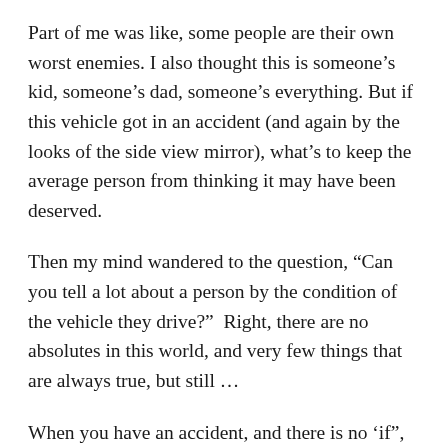Part of me was like, some people are their own worst enemies. I also thought this is someone's kid, someone's dad, someone's everything. But if this vehicle got in an accident (and again by the looks of the side view mirror), what's to keep the average person from thinking it may have been deserved.
Then my mind wandered to the question, “Can you tell a lot about a person by the condition of the vehicle they drive?”  Right, there are no absolutes in this world, and very few things that are always true, but still …
When you have an accident, and there is no ‘if”, it’s when, will the condition of your vehicle contribute to the escalation of events? Will you suffer more injury because of broken aspects of your vehicle? Will the windshield shatter because of that crack? Because on the line...